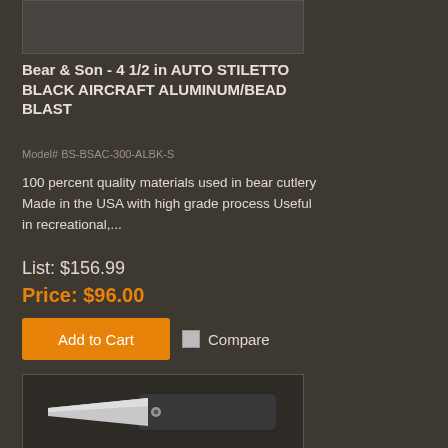[Figure (photo): Product image placeholder (top) - cropped knife image area]
Bear & Son - 4 1/2 in AUTO STILETTO BLACK AIRCRAFT ALUMINUM/BEAD BLAST
Model# BS-BSAC-300-ALBK-S
100 percent quality materials used in bear cutlery Made in the USA with high grade process Useful in recreational,...
List: $156.99
Price: $96.00
Add to Cart
Compare
[Figure (photo): Product image of a folding pocket knife with gray blade and black handle on dark background]